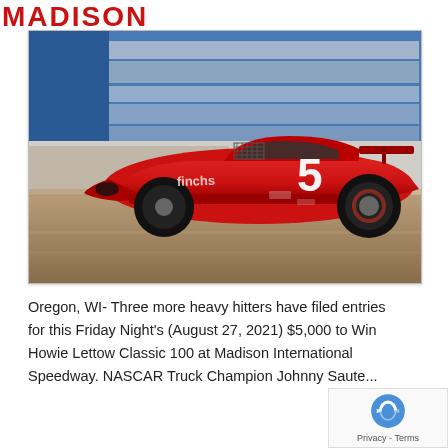MADISON
[Figure (photo): A red NASCAR-style late model stock car with number 5 racing on a track at Madison International Speedway, motion blur visible in background]
Oregon, WI- Three more heavy hitters have filed entries for this Friday Night's (August 27, 2021) $5,000 to Win Howie Lettow Classic 100 at Madison International Speedway. NASCAR Truck Champion Johnny Saute...